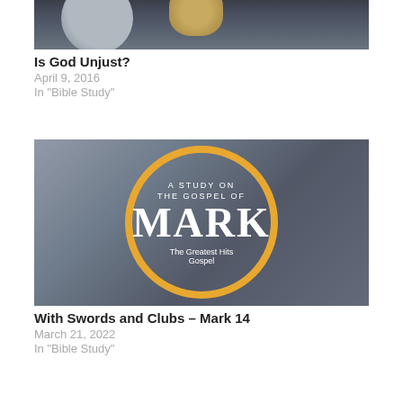[Figure (photo): Cropped photo of dark pebbles/rocks, close-up]
Is God Unjust?
April 9, 2016
In "Bible Study"
[Figure (illustration): Decorative image with a swirling background and an orange circle outline. White text reads: A STUDY ON THE GOSPEL OF MARK – The Greatest Hits Gospel]
With Swords and Clubs – Mark 14
March 21, 2022
In "Bible Study"